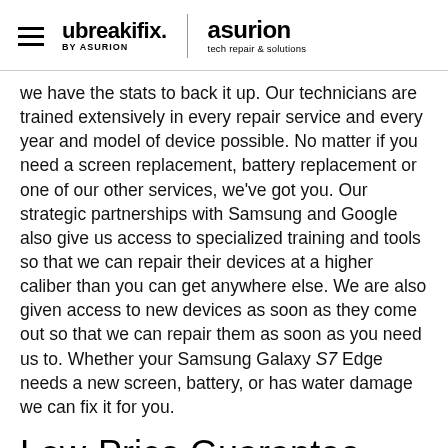ubreakifix. by asurion | asurion tech repair & solutions
we have the stats to back it up. Our technicians are trained extensively in every repair service and every year and model of device possible. No matter if you need a screen replacement, battery replacement or one of our other services, we've got you. Our strategic partnerships with Samsung and Google also give us access to specialized training and tools so that we can repair their devices at a higher caliber than you can get anywhere else. We are also given access to new devices as soon as they come out so that we can repair them as soon as you need us to. Whether your Samsung Galaxy S7 Edge needs a new screen, battery, or has water damage we can fix it for you.
Low-Price Guarantee
Opting for a repair instead of buying a brand new device shouldn't cost more. We strive to have the highest quality repairs at the lowest possible price with our low price